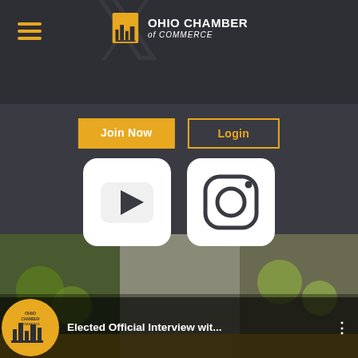[Figure (screenshot): Ohio Chamber of Commerce website header screenshot showing hamburger menu, logo, Join Now and Login buttons, YouTube and Instagram social icons, and a video thumbnail at the bottom with title 'Elected Official Interview wit...']